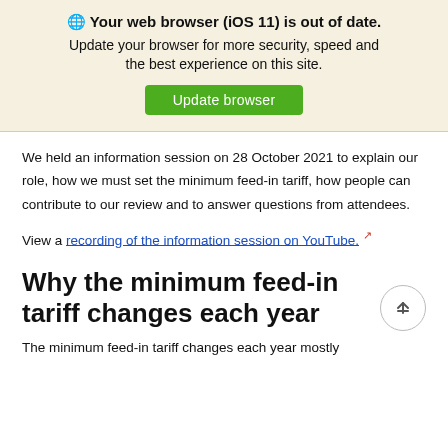🌐 Your web browser (iOS 11) is out of date. Update your browser for more security, speed and the best experience on this site. Update browser
We held an information session on 28 October 2021 to explain our role, how we must set the minimum feed-in tariff, how people can contribute to our review and to answer questions from attendees.
View a recording of the information session on YouTube.
Why the minimum feed-in tariff changes each year
The minimum feed-in tariff changes each year mostly